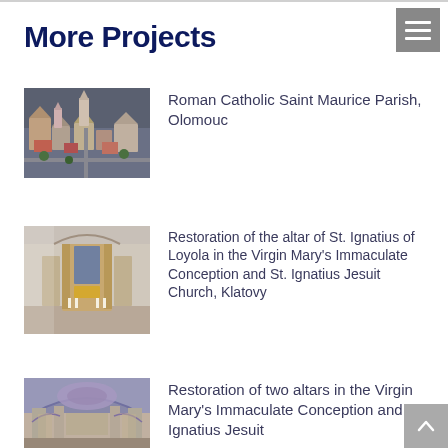More Projects
Roman Catholic Saint Maurice Parish, Olomouc
[Figure (photo): Aerial view of Roman Catholic Saint Maurice Parish in Olomouc, showing rooftops and church towers from above]
Restoration of the altar of St. Ignatius of Loyola in the Virgin Mary's Immaculate Conception and St. Ignatius Jesuit Church, Klatovy
[Figure (photo): Interior of a baroque church showing an ornate altar with gilded decorations and painted panels]
Restoration of two altars in the Virgin Mary's Immaculate Conception and St. Ignatius Jesuit Church,
[Figure (photo): Interior of a church showing frescoed ceiling with arches and decorated columns]